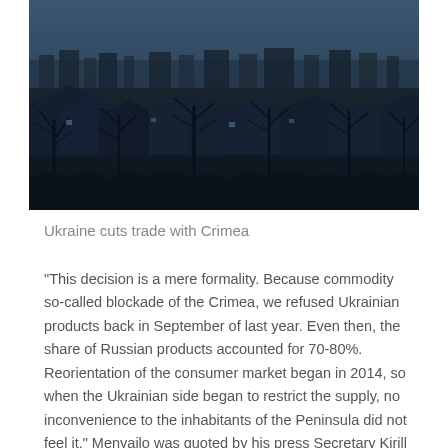[Figure (photo): A dark, moody photograph of a Ukrainian town skyline at dusk or dawn. Rows of residential houses and bare winter trees fill the foreground, with a grey-blue city horizon in the background. The color palette is cold and bluish-grey.]
Ukraine cuts trade with Crimea
“This decision is a mere formality. Because commodity so-called blockade of the Crimea, we refused Ukrainian products back in September of last year. Even then, the share of Russian products accounted for 70-80%. Reorientation of the consumer market began in 2014, so when the Ukrainian side began to restrict the supply, no inconvenience to the inhabitants of the Peninsula did not feel it,” Menyailo was quoted by his press Secretary Kirill